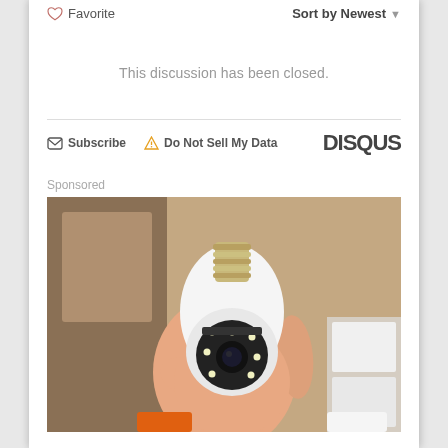Favorite   Sort by Newest
This discussion has been closed.
Subscribe   Do Not Sell My Data   DISQUS
Sponsored
[Figure (photo): A hand holding a light bulb-shaped security camera (white dome camera with black lens ring and LED lights, with screw base at top), shown against a wooden shelf background. Orange and white objects visible at bottom.]